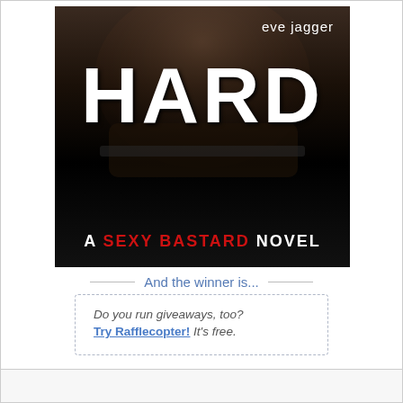[Figure (illustration): Book cover for 'HARD: A Sexy Bastard Novel' by Eve Jagger. Dark background with large white distressed text 'HARD' and subtitle 'A SEXY BASTARD NOVEL' with 'SEXY BASTARD' in red. Author name in white at top right.]
And the winner is...
[Figure (illustration): Grey circular user avatar icon]
Wendy H.
Do you run giveaways, too?
Try Rafflecopter! It's free.